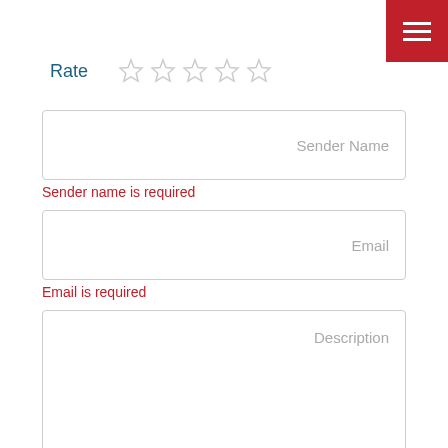[Figure (other): Red hamburger menu button in top-right corner]
Rate
[Figure (other): Five empty star rating icons]
Sender Name (input placeholder)
Sender name is required
Email (input placeholder)
Email is required
Description (textarea placeholder)
Characters left: 500
Comment is required